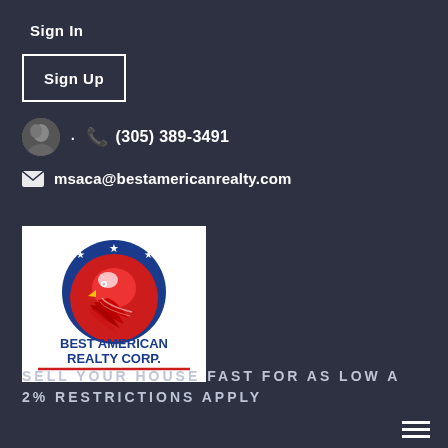Sign In
Sign Up
(305) 389-3491
msaca@bestamericanrealty.com
[Figure (logo): Best American Realty Corp. logo with eagle head in red circle with blue arc and stars, and company name below in blue text.]
SELL YOUR HOUSE FAST FOR AS LOW A 2% RESTRICTIONS APPLY